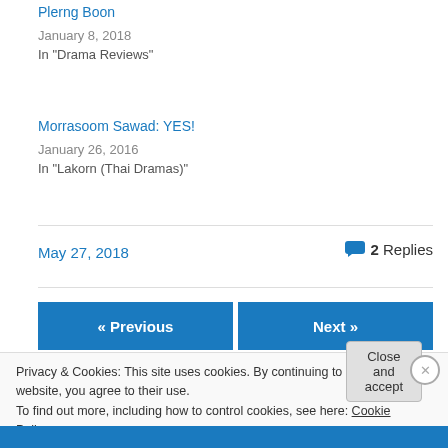Plerng Boon
January 8, 2018
In "Drama Reviews"
Morrasoom Sawad: YES!
January 26, 2016
In "Lakorn (Thai Dramas)"
May 27, 2018
2 Replies
« Previous
Next »
Privacy & Cookies: This site uses cookies. By continuing to use this website, you agree to their use.
To find out more, including how to control cookies, see here: Cookie Policy
Close and accept